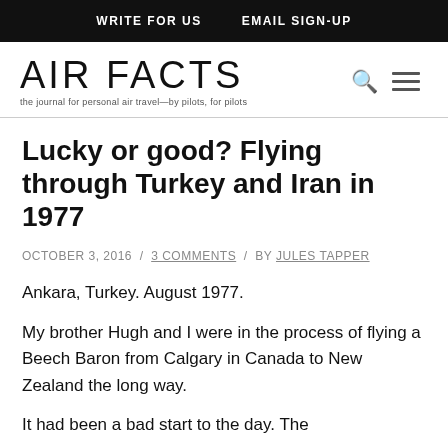WRITE FOR US   EMAIL SIGN-UP
[Figure (logo): AIR FACTS logo with tagline: the journal for personal air travel—by pilots, for pilots]
Lucky or good? Flying through Turkey and Iran in 1977
OCTOBER 3, 2016 / 3 COMMENTS / BY JULES TAPPER
Ankara, Turkey. August 1977.
My brother Hugh and I were in the process of flying a Beech Baron from Calgary in Canada to New Zealand the long way.
It had been a bad start to the day. The